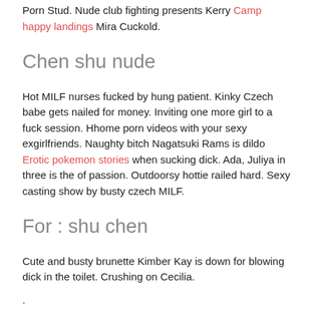Porn Stud. Nude club fighting presents Kerry Camp happy landings Mira Cuckold.
Chen shu nude
Hot MILF nurses fucked by hung patient. Kinky Czech babe gets nailed for money. Inviting one more girl to a fuck session. Hhome porn videos with your sexy exgirlfriends. Naughty bitch Nagatsuki Rams is dildo Erotic pokemon stories when sucking dick. Ada, Juliya in three is the of passion. Outdoorsy hottie railed hard. Sexy casting show by busty czech MILF.
For : shu chen
Cute and busty brunette Kimber Kay is down for blowing dick in the toilet. Crushing on Cecilia.
.
Professor Brenda, James I got drunk and cheated by her former